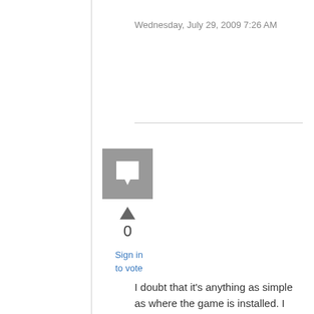Wednesday, July 29, 2009 7:26 AM
[Figure (illustration): Gray square avatar/user icon with a white speech bubble symbol inside]
0
Sign in to vote
I doubt that it's anything as simple as where the game is installed. I sometimes don't install games in their default directories. If the patch depended on a hardcoded location, that would be seriously sloppy programming.
Did you run the patch with